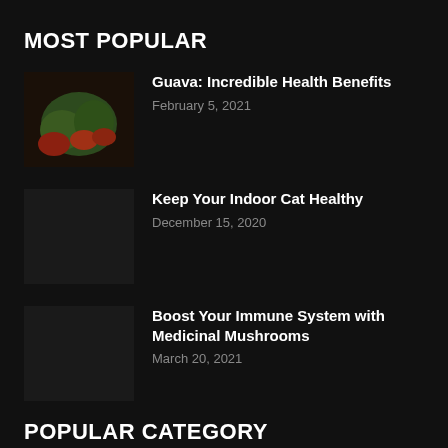MOST POPULAR
Guava: Incredible Health Benefits
February 5, 2021
Keep Your Indoor Cat Healthy
December 15, 2020
Boost Your Immune System with Medicinal Mushrooms
March 20, 2021
POPULAR CATEGORY
Food    304